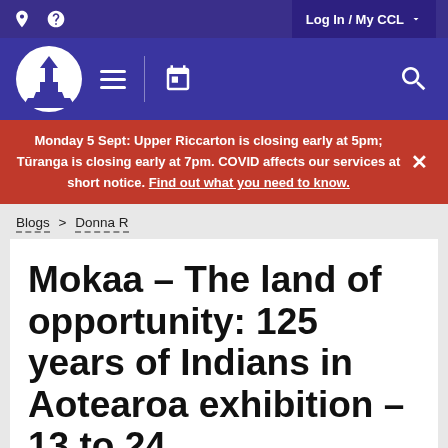Log In / My CCL
[Figure (logo): Christchurch City Libraries logo — white cathedral/church icon in a blue circle]
Monday 5 Sept: Upper Riccarton is closing early at 5pm; Tūranga is closing early at 7pm. COVID affects our services at short notice. Find out what you need to know.
Blogs > Donna R
Mokaa – The land of opportunity: 125 years of Indians in Aotearoa exhibition – 13 to 24